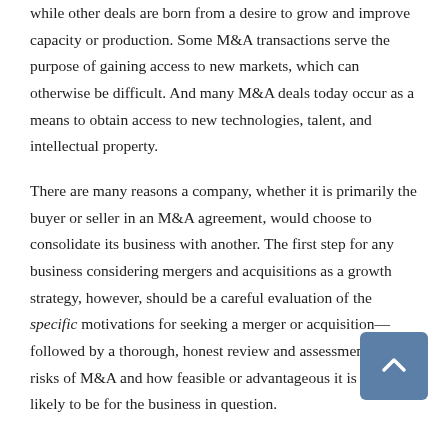while other deals are born from a desire to grow and improve capacity or production. Some M&A transactions serve the purpose of gaining access to new markets, which can otherwise be difficult. And many M&A deals today occur as a means to obtain access to new technologies, talent, and intellectual property.
There are many reasons a company, whether it is primarily the buyer or seller in an M&A agreement, would choose to consolidate its business with another. The first step for any business considering mergers and acquisitions as a growth strategy, however, should be a careful evaluation of the specific motivations for seeking a merger or acquisition—followed by a thorough, honest review and assessment of the risks of M&A and how feasible or advantageous it is truly likely to be for the business in question.